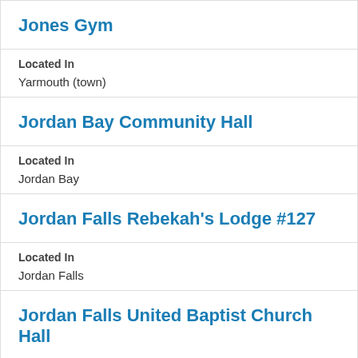Jones Gym
Located In
Yarmouth (town)
Jordan Bay Community Hall
Located In
Jordan Bay
Jordan Falls Rebekah's Lodge #127
Located In
Jordan Falls
Jordan Falls United Baptist Church Hall